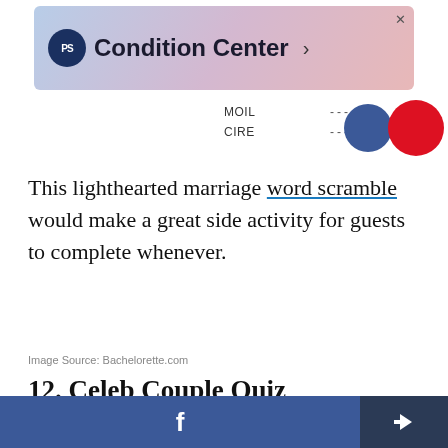[Figure (screenshot): PS Condition Center advertisement banner with gradient background]
MOIL
CIRE
---- ----
This lighthearted marriage word scramble would make a great side activity for guests to complete whenever.
Image Source: Bachelorette.com
12. Celeb Couple Quiz
[Figure (screenshot): Celeb Couple Quiz card on purple background with title CELEB COUPLE QUIZ in red border, subtitle 'Name the famous partners to these celebrities']
f  [share icon]